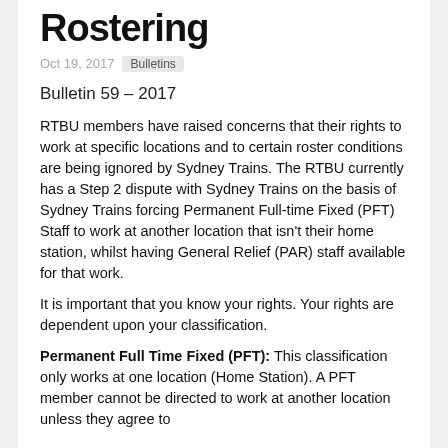Rostering
Oct 19, 2017  Bulletins
Bulletin 59 – 2017
RTBU members have raised concerns that their rights to work at specific locations and to certain roster conditions are being ignored by Sydney Trains. The RTBU currently has a Step 2 dispute with Sydney Trains on the basis of Sydney Trains forcing Permanent Full-time Fixed (PFT) Staff to work at another location that isn't their home station, whilst having General Relief (PAR) staff available for that work.
It is important that you know your rights. Your rights are dependent upon your classification.
Permanent Full Time Fixed (PFT): This classification only works at one location (Home Station). A PFT member cannot be directed to work at another location unless they agree to